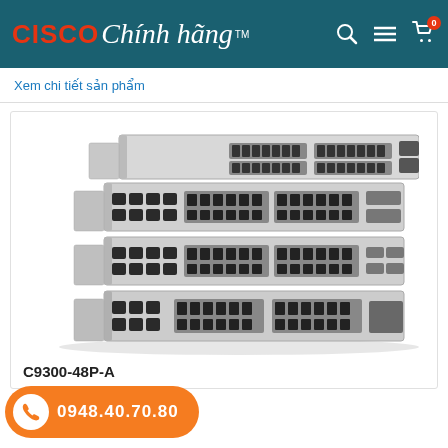[Figure (logo): CISCO Chinh hang TM logo on teal header background with search, menu, and cart icons]
Xem chi tiet san pham
[Figure (photo): Stack of four Cisco C9300-48P-A network switches, silver/grey rack-mount units with multiple Ethernet ports on front panel]
C9300-48P-A
0948.40.70.80